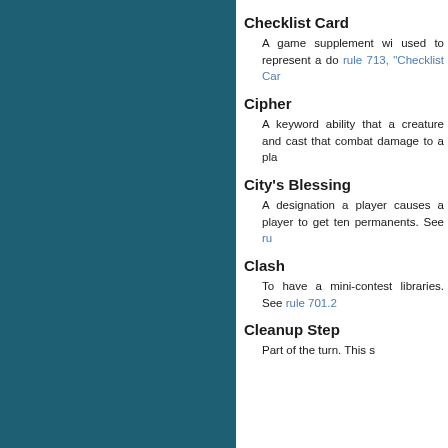Checklist Card
A game supplement wi... used to represent a do... rule 713, "Checklist Car...
Cipher
A keyword ability that a... creature and cast that ... combat damage to a pla...
City's Blessing
A designation a player... causes a player to get ... ten permanents. See ru...
Clash
To have a mini-contest ... libraries. See rule 701.2...
Cleanup Step
Part of the turn. This s...